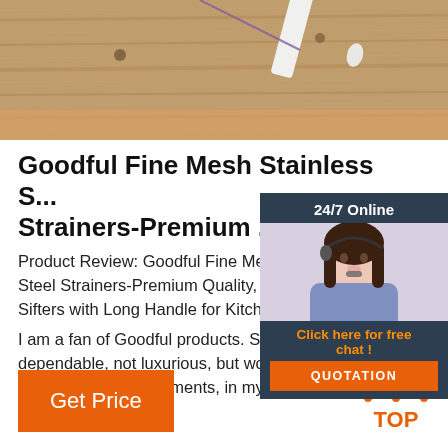[Figure (photo): Top portion of a product photo showing kitchen strainers on a wooden surface background]
Goodful Fine Mesh Stainless S... Strainers-Premium ...
Product Review: Goodful Fine Mesh S... Steel Strainers-Premium Quality, Cola... Sifters with Long Handle for Kitchen, 3...
I am a fan of Goodful products. Solid a... dependable, not luxurious, but workho... thoughtful design elements, in my experience. This colander ...
[Figure (photo): 24/7 Online chat widget with female customer service representative wearing headset, dark blue background with orange CTA button saying QUOTATION]
[Figure (illustration): Orange TOP arrow logo icon]
Get Price